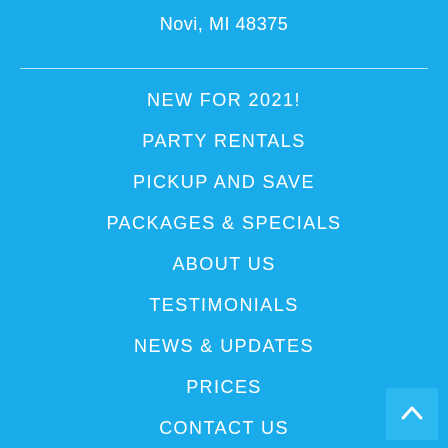Novi, MI 48375
NEW FOR 2021!
PARTY RENTALS
PICKUP AND SAVE
PACKAGES & SPECIALS
ABOUT US
TESTIMONIALS
NEWS & UPDATES
PRICES
CONTACT US